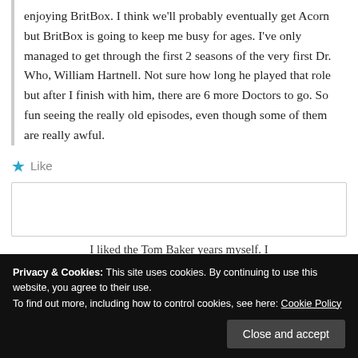enjoying BritBox. I think we'll probably eventually get Acorn but BritBox is going to keep me busy for ages. I've only managed to get through the first 2 seasons of the very first Dr. Who, William Hartnell. Not sure how long he played that role but after I finish with him, there are 6 more Doctors to go. So fun seeing the really old episodes, even though some of them are really awful.
★ Like
I liked the Tom Baker years myself. I
Privacy & Cookies: This site uses cookies. By continuing to use this website, you agree to their use. To find out more, including how to control cookies, see here: Cookie Policy